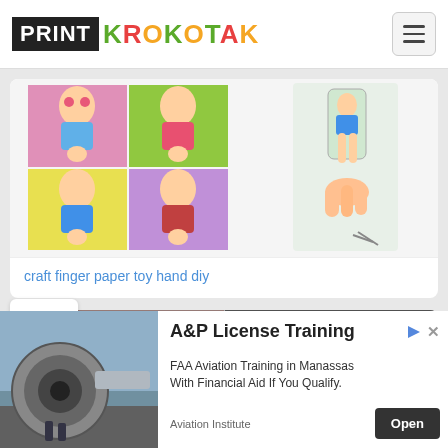PRINT KROKOTAK
[Figure (illustration): Card showing anime-style finger paper doll characters in a 2x2 grid with pink, green, yellow, purple backgrounds, plus a side image of a hand holding a paper doll with scissors]
craft finger paper toy hand diy
[Figure (photo): Card showing red and white paper dolls craft - photo of cutting and assembled red/white paper doll figures]
[Figure (photo): Advertisement banner: A&P License Training - FAA Aviation Training in Manassas With Financial Aid If You Qualify. Aviation Institute. Open button.]